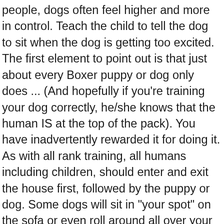people, dogs often feel higher and more in control. Teach the child to tell the dog to sit when the dog is getting too excited. The first element to point out is that just about every Boxer puppy or dog only does ... (And hopefully if you're training your dog correctly, he/she knows that the human IS at the top of the pack). You have inadvertently rewarded it for doing it. As with all rank training, all humans including children, should enter and exit the house first, followed by the puppy or dog. Some dogs will sit in "your spot" on the sofa or even roll around all over your sofa as a way to spread their scent and show that you belong to them. Puppies in a litter will pile up on top of each other for both warmth and security. The average weight for a boxer dog is: sometimes a dog will adapt other behaviours from their mothers. Boxers and cancer are, unfortunately, like bread and butter. The first element to point out is that just about every Boxer puppy or dog only does this with humans that they trust. He will lay across my legs and next to me but never on top of me like he does with others. Think of it this way, if you had a